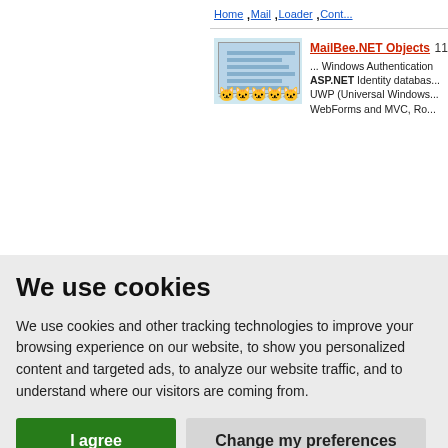[Figure (screenshot): Top portion of a webpage showing a product listing for MailBee.NET Objects with a thumbnail screenshot, star ratings, and partial text description about Windows Authentication, ASP.NET Identity database, UWP, WebForms and MVC.]
We use cookies
We use cookies and other tracking technologies to improve your browsing experience on our website, to show you personalized content and targeted ads, to analyze our website traffic, and to understand where our visitors are coming from.
I agree | Change my preferences